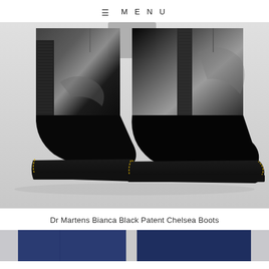≡ MENU
[Figure (photo): Close-up photo of Dr Martens Bianca Black Patent Chelsea Boots — two black patent leather ankle boots with elastic gusset panels, yellow stitching along the chunky black sole, on a light grey background. The boots are shown from the front/side angle with a person's legs visible above.]
Dr Martens Bianca Black Patent Chelsea Boots
[Figure (photo): Partial bottom preview image showing dark denim jeans on a light background.]